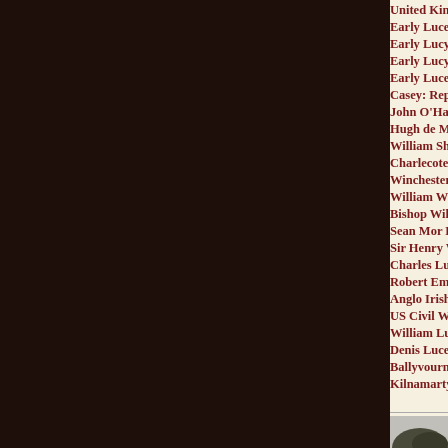United King...
Early Lucey...
Early Lucys...
Early Lucys...
Early Luces...
Casey: Repo...
John O'Hart...
Hugh de Mo...
William Sha...
Charlecote P...
Winchester C...
William Woo...
Bishop Willi...
Sean Mor Lu...
Sir Henry W...
Charles Luc...
Robert Emm...
Anglo Irish W...
US Civil Wa...
William Luc...
Denis Lucey...
Ballyvourne...
Kilnamarty...
[Figure (photo): Black and white photograph of a tree or landscape, partially visible at bottom of page]